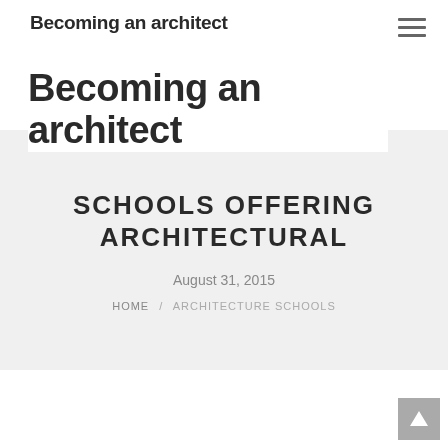Becoming an architect
SCHOOLS OFFERING ARCHITECTURAL
August 31, 2015
HOME / ARCHITECTURE SCHOOLS